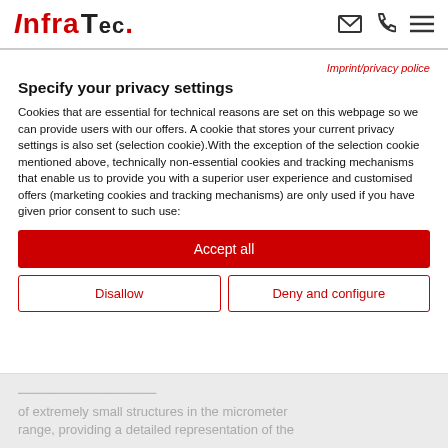InfraTec.
Imprint/privacy police
Specify your privacy settings
Cookies that are essential for technical reasons are set on this webpage so we can provide users with our offers. A cookie that stores your current privacy settings is also set (selection cookie).With the exception of the selection cookie mentioned above, technically non-essential cookies and tracking mechanisms that enable us to provide you with a superior user experience and customised offers (marketing cookies and tracking mechanisms) are only used if you have given prior consent to such use:
Accept all
Disallow
Deny and configure
of extremely small structures in the micrometer range, providing a detailed representation of the